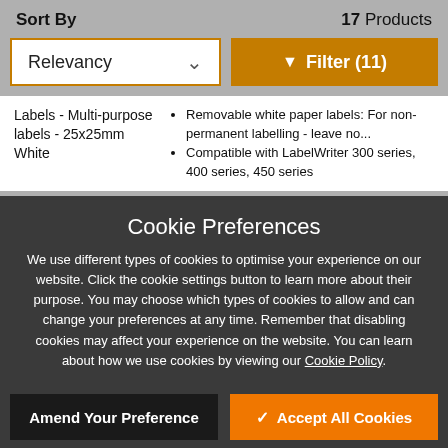Sort By
17 Products
Relevancy
Filter (11)
Labels - Multi-purpose labels - 25x25mm White
Removable white paper labels: For non-permanent labelling - leave no...
Compatible with LabelWriter 300 series, 400 series, 450 series
Cookie Preferences
We use different types of cookies to optimise your experience on our website. Click the cookie settings button to learn more about their purpose. You may choose which types of cookies to allow and can change your preferences at any time. Remember that disabling cookies may affect your experience on the website. You can learn about how we use cookies by viewing our Cookie Policy.
Amend Your Preference
Accept All Cookies